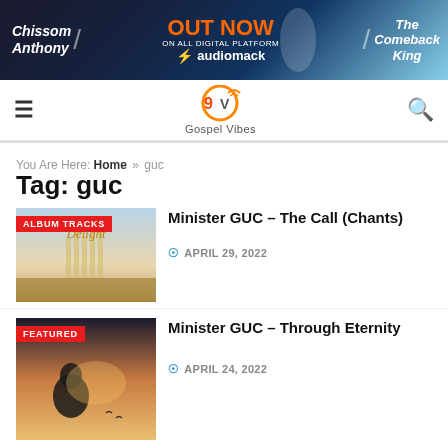[Figure (illustration): Promotional banner for Chissom Anthony 'The Comeback King' album on Audiomack, OUT NOW on all digital platforms]
Gospel Vibes navigation header with hamburger menu, logo, and search icon
You Are Here: Home » guc
Tag: guc
[Figure (photo): Album artwork for Minister GUC - The Call (Chants), labeled ALBUM TRACKS, showing 'Delight' album cover with musical imagery]
Minister GUC – The Call (Chants)
APRIL 29, 2022
[Figure (photo): Album artwork for Minister GUC - Through Eternity, labeled FEATURED, showing a person facing light with birds]
Minister GUC – Through Eternity
APRIL 24, 2022